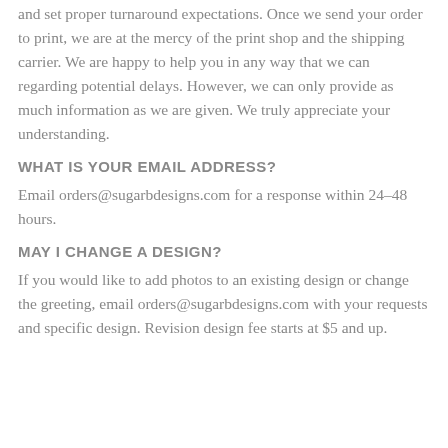and set proper turnaround expectations. Once we send your order to print, we are at the mercy of the print shop and the shipping carrier. We are happy to help you in any way that we can regarding potential delays. However, we can only provide as much information as we are given. We truly appreciate your understanding.
WHAT IS YOUR EMAIL ADDRESS?
Email orders@sugarbdesigns.com for a response within 24–48 hours.
MAY I CHANGE A DESIGN?
If you would like to add photos to an existing design or change the greeting, email orders@sugarbdesigns.com with your requests and specific design. Revision design fee starts at $5 and up.